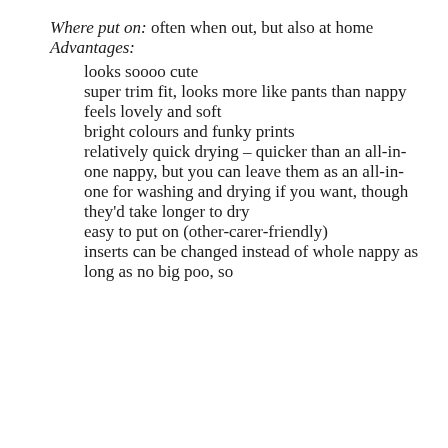Where put on: often when out, but also at home
Advantages:
looks soooo cute
super trim fit, looks more like pants than nappy
feels lovely and soft
bright colours and funky prints
relatively quick drying – quicker than an all-in-one nappy, but you can leave them as an all-in-one for washing and drying if you want, though they'd take longer to dry
easy to put on (other-carer-friendly)
inserts can be changed instead of whole nappy as long as no big poo, so